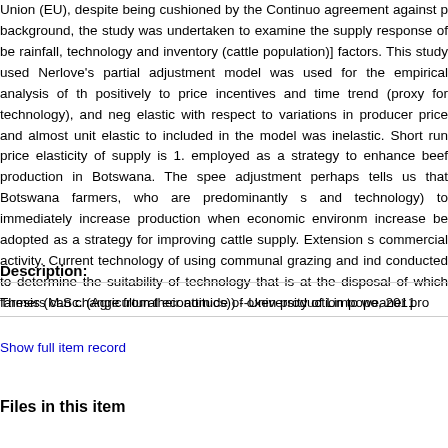Union (EU), despite being cushioned by the Continuo agreement against p background, the study was undertaken to examine the supply response of be rainfall, technology and inventory (cattle population)] factors. This study used Nerlove's partial adjustment model was used for the empirical analysis of th positively to price incentives and time trend (proxy for technology), and neg elastic with respect to variations in producer price and almost unit elastic to included in the model was inelastic. Short run price elasticity of supply is 1. employed as a strategy to enhance beef production in Botswana. The spee adjustment perhaps tells us that Botswana farmers, who are predominantly s and technology) to immediately increase production when economic environm increase be adopted as a strategy for improving cattle supply. Extension s commercial activity. Current technology of using communal grazing and ind conducted to determine the suitability of technology that is at the disposal of which farmers can change from their attitude of oxen production to weaner pro
Description:
Thesis (M.Sc. (Agricultural economics)) --University of Limpopo, 2011
Show full item record
Files in this item